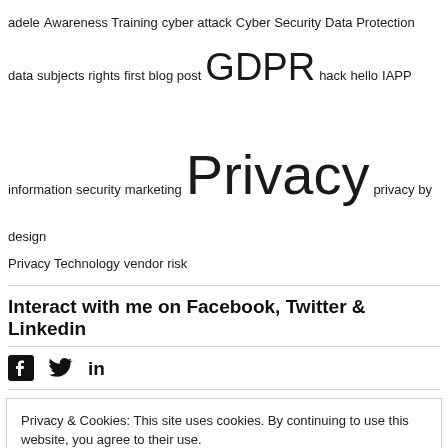[Figure (infographic): Tag cloud with words: adele, Awareness Training, cyber attack, Cyber Security, Data Protection, data subjects rights, first blog post, GDPR (large), hack, hello, IAPP, information security, marketing, Privacy (extra large), privacy by design, Privacy Technology, vendor risk]
Interact with me on Facebook, Twitter & Linkedin
[Figure (infographic): Social media icons: Facebook, Twitter, LinkedIn]
Privacy & Cookies: This site uses cookies. By continuing to use this website, you agree to their use.
To find out more, including how to control cookies, see here: Cookie Policy
Close and accept